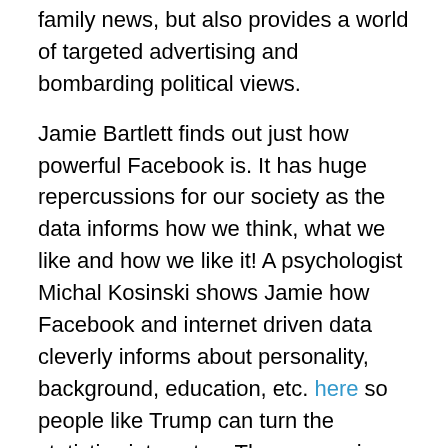family news, but also provides a world of targeted advertising and bombarding political views.
Jamie Bartlett finds out just how powerful Facebook is. It has huge repercussions for our society as the data informs how we think, what we like and how we like it! A psychologist Michal Kosinski shows Jamie how Facebook and internet driven data cleverly informs about personality, background, education, etc. here so people like Trump can turn the statistics into votes. The persuasion machine can now secure you a place in the White House. Allegedly, Trump spent eighty-three million dollars on his social media campaign. One hundred, almost identical ads, were placed in one day, to see which one did best. This constant stream of cosy ads aimed at families, must have driven the public mad. You can imagine what they thought